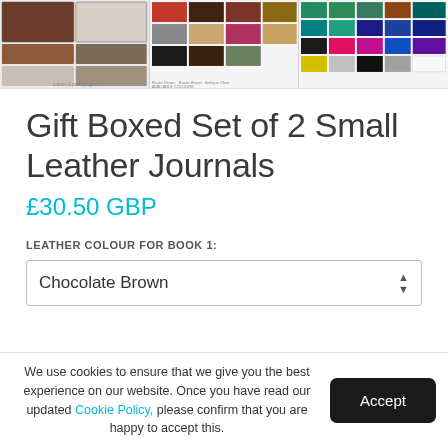[Figure (photo): Three product images showing leather journal samples, color swatches for leather colors, and thread color options]
Gift Boxed Set of 2 Small Leather Journals
£30.50 GBP
LEATHER COLOUR FOR BOOK 1:
Chocolate Brown
We use cookies to ensure that we give you the best experience on our website. Once you have read our updated Cookie Policy, please confirm that you are happy to accept this.